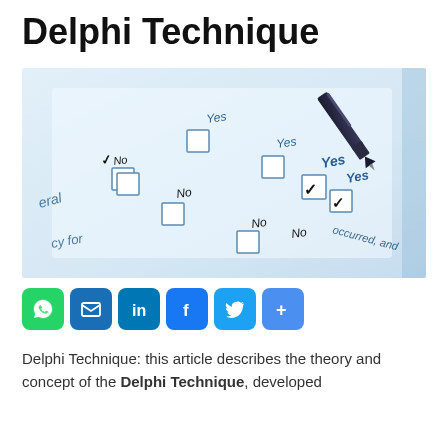Delphi Technique
[Figure (photo): Close-up photo of a survey/questionnaire form with checkboxes labeled Yes and No, with a pen checking Yes boxes]
[Figure (infographic): Row of social media share buttons: WhatsApp, Email, LinkedIn, Facebook, Twitter, Share]
Delphi Technique: this article describes the theory and concept of the Delphi Technique, developed